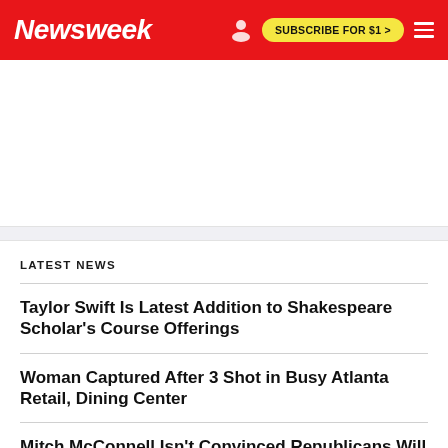Newsweek | SUBSCRIBE FOR $1 >
LATEST NEWS
Taylor Swift Is Latest Addition to Shakespeare Scholar's Course Offerings
Woman Captured After 3 Shot in Busy Atlanta Retail, Dining Center
Mitch McConnell Isn't Convinced Republicans Will Take Control of Senate